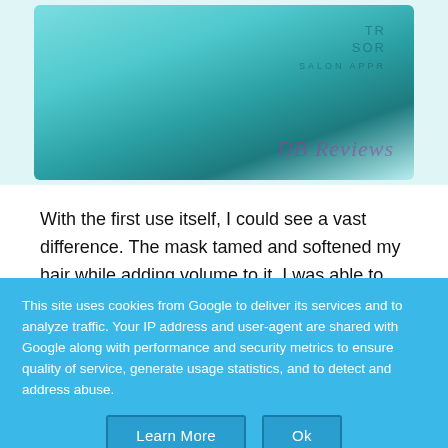[Figure (photo): A teal/turquoise hair mask product container (Tresemme Salon Approved) photographed from above, with a watermark reading 'DB Reviews' in purple italic text.]
With the first use itself, I could see a vast difference. The mask tamed and softened my hair while adding volume to it. I was able to leave my
This site uses cookies from Google to deliver its services and to analyze traffic. Your IP address and user-agent are shared with Google along with performance and security metrics to ensure quality of service, generate usage statistics, and to detect and address abuse.
Learn More
Ok